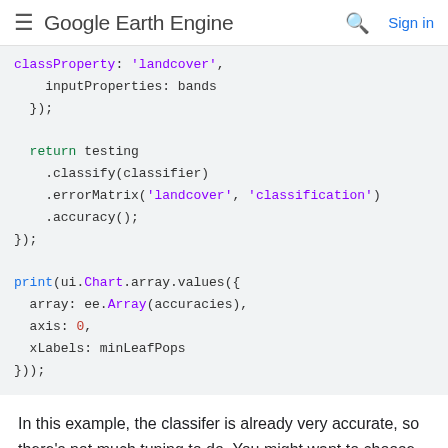Google Earth Engine  Sign in
classProperty: 'landcover',
    inputProperties: bands
  });

  return testing
    .classify(classifier)
    .errorMatrix('landcover', 'classification')
    .accuracy();
});

print(ui.Chart.array.values({
  array: ee.Array(accuracies),
  axis: 0,
  xLabels: minLeafPops
}));
In this example, the classifer is already very accurate, so there's not much tuning to do. You might want to choose the smallest tree possible (i.e. largest